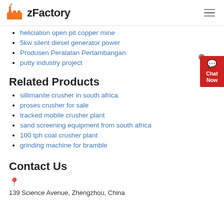zFactory
heliciation open pit copper mine
5kw silent diesel generator power
Produsen Peralatan Pertambangan
putty industry project
Related Products
sillimanite crusher in south africa
proses crusher for sale
tracked mobile crusher plant
sand screening equipment from south africa
100 tph coal crusher plant
grinding machine for bramble
Contact Us
139 Science Avenue, Zhengzhou, China